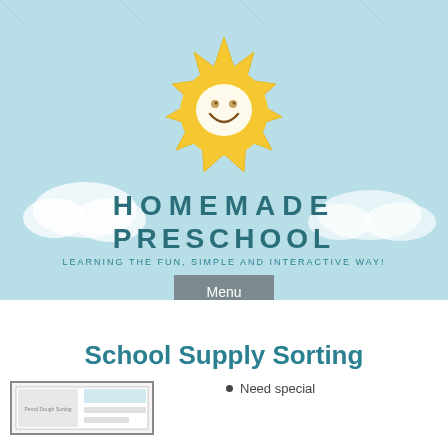[Figure (illustration): Homemade Preschool website banner with a cartoon smiling sun against a light blue textured background with cloud shapes. Text reads HOMEMADE PRESCHOOL and LEARNING THE FUN, SIMPLE AND INTERACTIVE WAY! with a Menu button below.]
School Supply Sorting
[Figure (screenshot): Small thumbnail image of a worksheet]
Need special